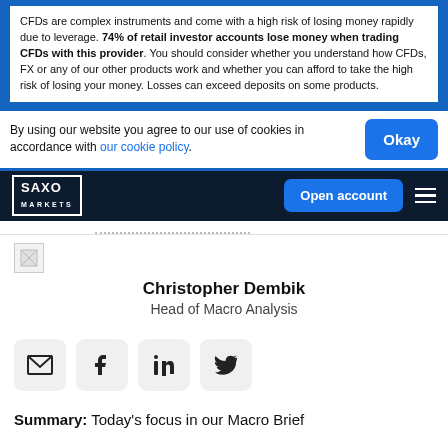CFDs are complex instruments and come with a high risk of losing money rapidly due to leverage. 74% of retail investor accounts lose money when trading CFDs with this provider. You should consider whether you understand how CFDs, FX or any of our other products work and whether you can afford to take the high risk of losing your money. Losses can exceed deposits on some products.
By using our website you agree to our use of cookies in accordance with our cookie policy.
SAXO MARKETS | Open account
[Figure (photo): Profile photo placeholder for Christopher Dembik]
Christopher Dembik
Head of Macro Analysis
[Figure (infographic): Social sharing icons: email, Facebook, LinkedIn, Twitter]
Summary: Today's focus in our Macro Brief